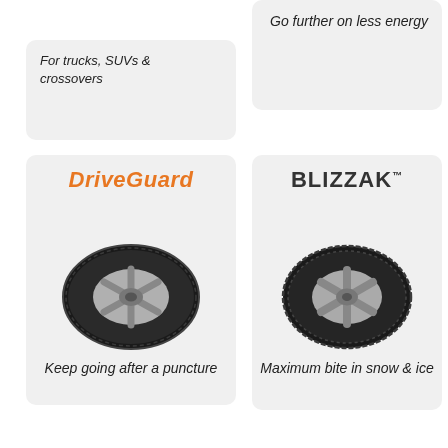Go further on less energy
For trucks, SUVs & crossovers
[Figure (illustration): DriveGuard tire product card with orange DriveGuard logo and a photo of a tire on an alloy wheel]
Keep going after a puncture
[Figure (illustration): Blizzak tire product card with dark Blizzak logo and a photo of a winter tire on an alloy wheel]
Maximum bite in snow & ice